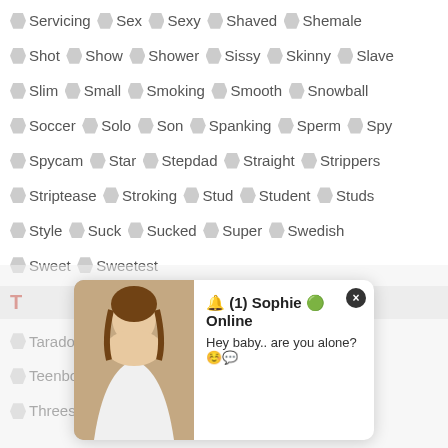Servicing Sex Sexy Shaved Shemale
Shot Show Shower Sissy Skinny Slave
Slim Small Smoking Smooth Snowball
Soccer Solo Son Spanking Sperm Spy
Spycam Star Stepdad Straight Strippers
Striptease Stroking Stud Student Studs
Style Suck Sucked Super Swedish
Sweet Sweetest
T
Tarado Tattoo Tattoos Teen Teenage
Teenboy Teens Thai That Three
Threesome Thug Thugs Tied Ti...
🔔 (1) Sophie 🟢 Online
Hey baby.. are you alone? ☺️💬